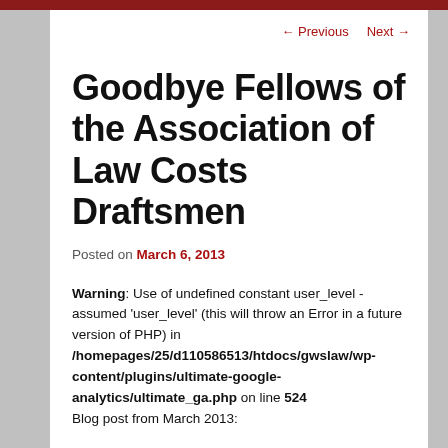← Previous   Next →
Goodbye Fellows of the Association of Law Costs Draftsmen
Posted on March 6, 2013
Warning: Use of undefined constant user_level - assumed 'user_level' (this will throw an Error in a future version of PHP) in /homepages/25/d110586513/htdocs/gwslaw/wp-content/plugins/ultimate-google-analytics/ultimate_ga.php on line 524
Blog post from March 2013: